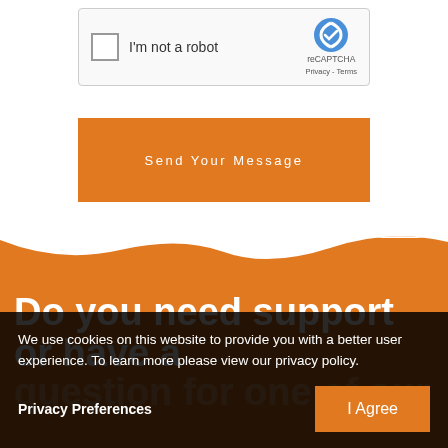[Figure (screenshot): reCAPTCHA widget with checkbox labeled I'm not a robot and reCAPTCHA logo with Privacy and Terms links]
Send Your Message
[Figure (illustration): Orange wave divider shape separating white section above from orange section below]
Do you need support or have a question for one of our
We use cookies on this website to provide you with a better user experience. To learn more please view our privacy policy.
Privacy Preferences
I Agree